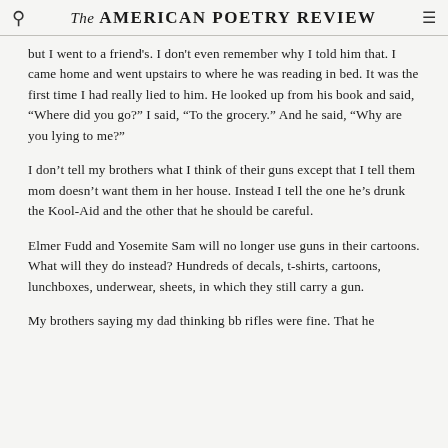The AMERICAN POETRY REVIEW
but I went to a friend's. I don't even remember why I told him that. I came home and went upstairs to where he was reading in bed. It was the first time I had really lied to him. He looked up from his book and said, “Where did you go?” I said, “To the grocery.” And he said, “Why are you lying to me?”
I don’t tell my brothers what I think of their guns except that I tell them mom doesn’t want them in her house. Instead I tell the one he’s drunk the Kool-Aid and the other that he should be careful.
Elmer Fudd and Yosemite Sam will no longer use guns in their cartoons. What will they do instead? Hundreds of decals, t-shirts, cartoons, lunchboxes, underwear, sheets, in which they still carry a gun.
My brothers saying my dad thinking bb rifles were fine. That he